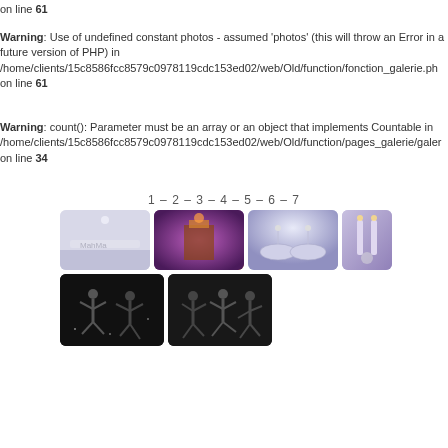on line 61
Warning: Use of undefined constant photos - assumed 'photos' (this will throw an Error in a future version of PHP) in /home/clients/15c8586fcc8579c0978119cdc153ed02/web/Old/function/fonction_galerie.ph on line 61
Warning: count(): Parameter must be an array or an object that implements Countable in /home/clients/15c8586fcc8579c0978119cdc153ed02/web/Old/function/pages_galerie/galer on line 34
1 - 2 - 3 - 4 - 5 - 6 - 7
[Figure (photo): Six event/party photos arranged in two rows: top row has 4 photos (event stage with MahMa branding, purple-lit venue interior, white decorated banquet tables, purple candle holders), bottom row has 2 dark photos of dancers performing on stage]
1 - 2 - 3 - 4 - 5 - 6 - 7